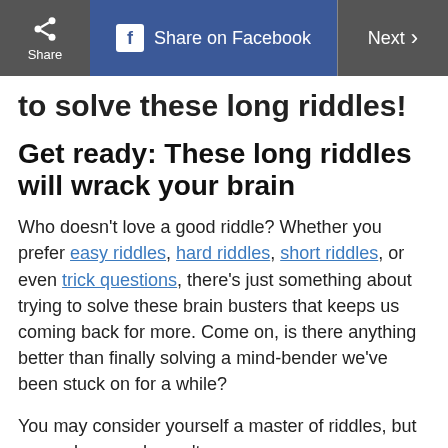Share | Share on Facebook | Next >
to solve these long riddles!
Get ready: These long riddles will wrack your brain
Who doesn’t love a good riddle? Whether you prefer easy riddles, hard riddles, short riddles, or even trick questions, there’s just something about trying to solve these brain busters that keeps us coming back for more. Come on, is there anything better than finally solving a mind-bender we’ve been stuck on for a while?
You may consider yourself a master of riddles, but remember, you haven’t seen